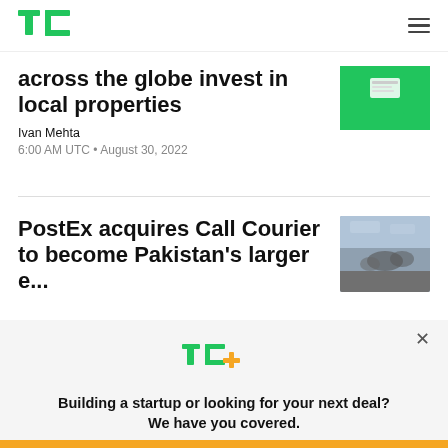TechCrunch
across the globe invest in local properties
Ivan Mehta
6:00 AM UTC • August 30, 2022
PostEx acquires Call Courier to become Pakistan's larger e...
[Figure (photo): A promotional/ad thumbnail image with green background and UI mockup]
[Figure (photo): A person riding a motorcycle on a busy road, blurred motion]
[Figure (logo): TC+ logo in green and yellow]
Building a startup or looking for your next deal? We have you covered.
EXPLORE NOW